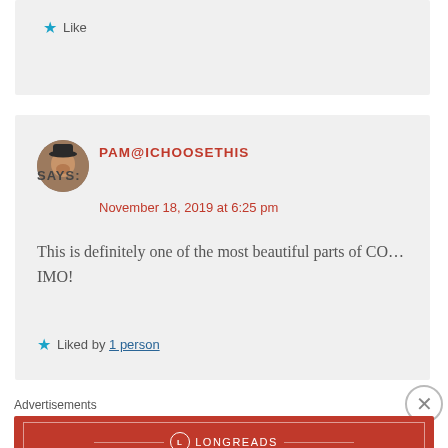★ Like
PAM@ICHOOSETHIS SAYS:
November 18, 2019 at 6:25 pm
This is definitely one of the most beautiful parts of CO…IMO!
★ Liked by 1 person
Advertisements
[Figure (other): Longreads advertisement banner: 'The best stories on the web – ours, and everyone else's.']